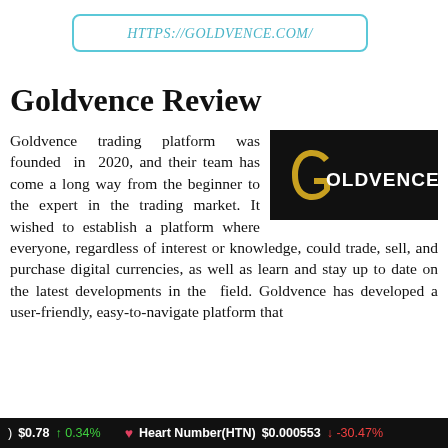HTTPS://GOLDVENCE.COM/
Goldvence Review
[Figure (logo): Goldvence logo — white text 'GOLDVENCE' with a stylized golden G on a black background]
Goldvence trading platform was founded in 2020, and their team has come a long way from the beginner to the expert in the trading market. It wished to establish a platform where everyone, regardless of interest or knowledge, could trade, sell, and purchase digital currencies, as well as learn and stay up to date on the latest developments in the field. Goldvence has developed a user-friendly, easy-to-navigate platform that
) $0.78 ↑ 0.34%   Heart Number(HTN) $0.000553 ↓ -30.47%